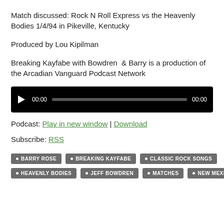Match discussed: Rock N Roll Express vs the Heavenly Bodies 1/4/94 in Pikeville, Kentucky
Produced by Lou Kipilman
Breaking Kayfabe with Bowdren  & Barry is a production of the Arcadian Vanguard Podcast Network
[Figure (other): Audio player widget with play button, 00:00 start time, progress bar, and 00:00 end time on black background]
Podcast: Play in new window | Download
Subscribe: RSS
BARRY ROSE
BREAKING KAYFABE
CLASSIC ROCK SONGS
HEAVENLY BODIES
JEFF BOWDREN
MATCHES
NEW MEXICO